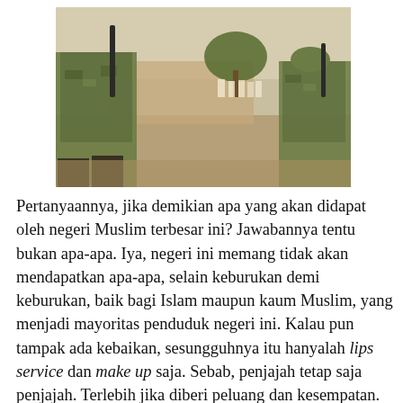[Figure (photo): Two soldiers in camouflage military gear carrying rifles stand in a desert/arid environment. In the background, a group of civilians (men in white garments) can be seen gathered near a wall and tree.]
Pertanyaannya, jika demikian apa yang akan didapat oleh negeri Muslim terbesar ini? Jawabannya tentu bukan apa-apa. Iya, negeri ini memang tidak akan mendapatkan apa-apa, selain keburukan demi keburukan, baik bagi Islam maupun kaum Muslim, yang menjadi mayoritas penduduk negeri ini. Kalau pun tampak ada kebaikan, sesungguhnya itu hanyalah lips service dan make up saja. Sebab, penjajah tetap saja penjajah. Terlebih jika diberi peluang dan kesempatan. Jikalau ada perubahan pada kebijakan luar negeri AS di era Obama, itu hanyalah perubahan pendekatan, tetapi substansinya tetap sama, yaitu